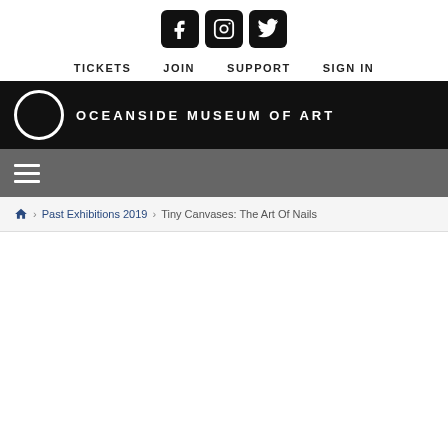[Figure (logo): Social media icons: Facebook, Instagram, Twitter — dark square rounded buttons]
TICKETS   JOIN   SUPPORT   SIGN IN
[Figure (logo): Oceanside Museum of Art logo: white circle O on black background with text OCEANSIDE MUSEUM OF ART]
Hamburger menu icon (three horizontal lines)
Home > Past Exhibitions 2019 > Tiny Canvases: The Art Of Nails